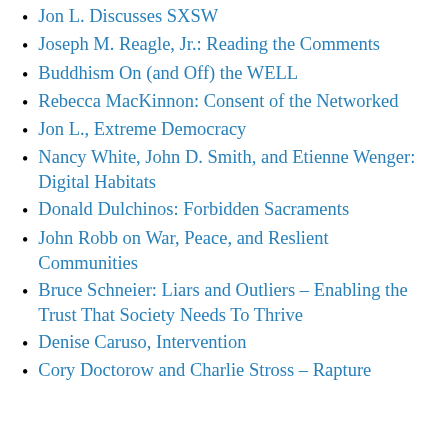Jon L. Discusses SXSW
Joseph M. Reagle, Jr.: Reading the Comments
Buddhism On (and Off) the WELL
Rebecca MacKinnon: Consent of the Networked
Jon L., Extreme Democracy
Nancy White, John D. Smith, and Etienne Wenger: Digital Habitats
Donald Dulchinos: Forbidden Sacraments
John Robb on War, Peace, and Reslient Communities
Bruce Schneier: Liars and Outliers – Enabling the Trust That Society Needs To Thrive
Denise Caruso, Intervention
Cory Doctorow and Charlie Stross – Rapture